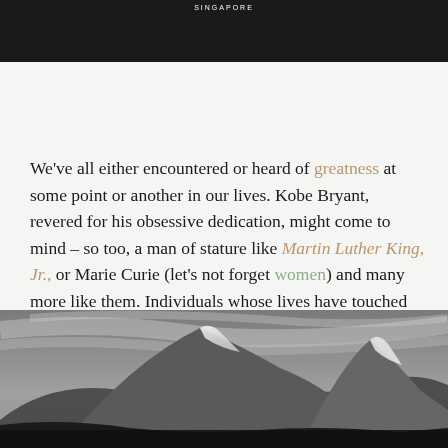[Figure (photo): Dark/black banner image at top of page with 'SINGAPORE' text header]
We've all either encountered or heard of greatness at some point or another in our lives. Kobe Bryant, revered for his obsessive dedication, might come to mind – so too, a man of stature like Martin Luther King, Jr., or Marie Curie (let's not forget women) and many more like them. Individuals whose lives have touched or inspired innumerable others, one way or another.
[Figure (photo): Black and white photograph of a mountain peak (appears to be Everest or Himalayan peak) with dramatic sky and clouds]